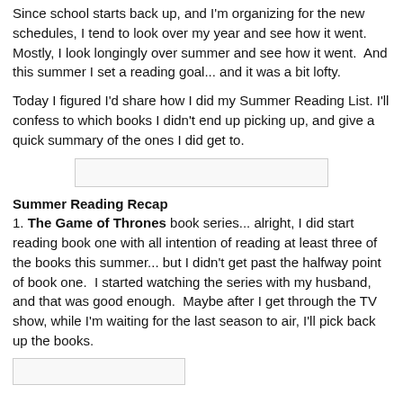Since school starts back up, and I'm organizing for the new schedules, I tend to look over my year and see how it went.  Mostly, I look longingly over summer and see how it went.  And this summer I set a reading goal... and it was a bit lofty.
Today I figured I'd share how I did my Summer Reading List. I'll confess to which books I didn't end up picking up, and give a quick summary of the ones I did get to.
[Figure (other): Placeholder image box (empty/blank rectangle)]
Summer Reading Recap
1. The Game of Thrones book series... alright, I did start reading book one with all intention of reading at least three of the books this summer... but I didn't get past the halfway point of book one.  I started watching the series with my husband, and that was good enough.  Maybe after I get through the TV show, while I'm waiting for the last season to air, I'll pick back up the books.
[Figure (other): Placeholder image box (empty/blank rectangle) at bottom of page]